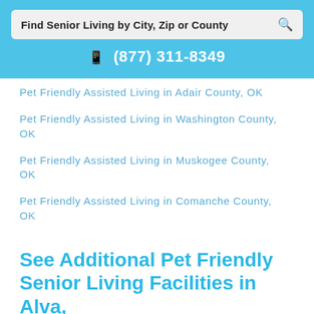Find Senior Living by City, Zip or County
(877) 311-8349
Pet Friendly Assisted Living in Adair County, OK
Pet Friendly Assisted Living in Washington County, OK
Pet Friendly Assisted Living in Muskogee County, OK
Pet Friendly Assisted Living in Comanche County, OK
See Additional Pet Friendly Senior Living Facilities in Alva, OK: